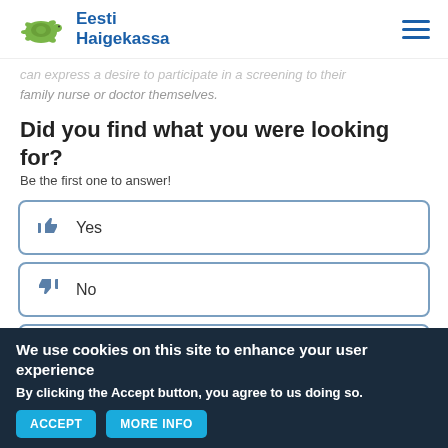Eesti Haigekassa
can express a desire to participate in a screening to their family nurse or doctor themselves.
Did you find what you were looking for?
Be the first one to answer!
Yes
No
I need more inforomation
We use cookies on this site to enhance your user experience
By clicking the Accept button, you agree to us doing so.